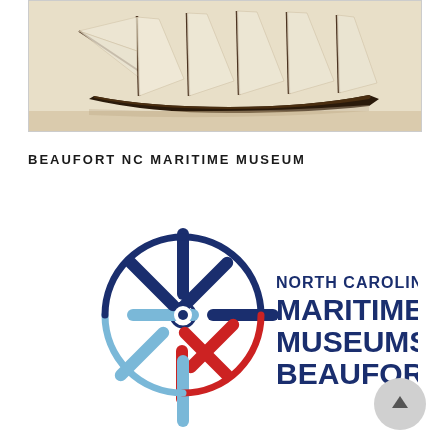[Figure (photo): Sepia-toned historical photograph of a multi-masted sailing schooner with full sails, viewed from the side on water.]
BEAUFORT NC MARITIME MUSEUM
[Figure (logo): North Carolina Maritime Museums Beaufort logo featuring a ship's wheel made of overlapping navy blue, red, and light blue spokes, with text 'NORTH CAROLINA MARITIME MUSEUMS BEAUFORT' to the right in navy blue.]